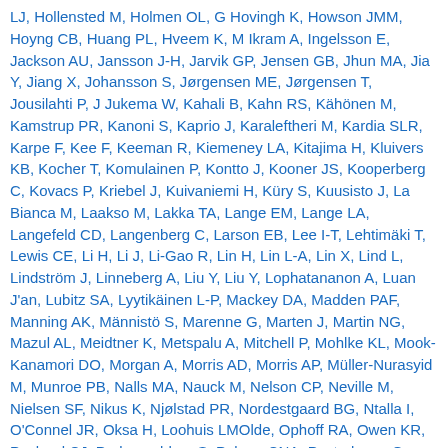LJ, Hollensted M, Holmen OL, G Hovingh K, Howson JMM, Hoyng CB, Huang PL, Hveem K, M Ikram A, Ingelsson E, Jackson AU, Jansson J-H, Jarvik GP, Jensen GB, Jhun MA, Jia Y, Jiang X, Johansson S, Jørgensen ME, Jørgensen T, Jousilahti P, J Jukema W, Kahali B, Kahn RS, Kähönen M, Kamstrup PR, Kanoni S, Kaprio J, Karaleftheri M, Kardia SLR, Karpe F, Kee F, Keeman R, Kiemeney LA, Kitajima H, Kluivers KB, Kocher T, Komulainen P, Kontto J, Kooner JS, Kooperberg C, Kovacs P, Kriebel J, Kuivaniemi H, Küry S, Kuusisto J, La Bianca M, Laakso M, Lakka TA, Lange EM, Lange LA, Langefeld CD, Langenberg C, Larson EB, Lee I-T, Lehtimäki T, Lewis CE, Li H, Li J, Li-Gao R, Lin H, Lin L-A, Lin X, Lind L, Lindström J, Linneberg A, Liu Y, Liu Y, Lophatananon A, Luan J'an, Lubitz SA, Lyytikäinen L-P, Mackey DA, Madden PAF, Manning AK, Männistö S, Marenne G, Marten J, Martin NG, Mazul AL, Meidtner K, Metspalu A, Mitchell P, Mohlke KL, Mook-Kanamori DO, Morgan A, Morris AD, Morris AP, Müller-Nurasyid M, Munroe PB, Nalls MA, Nauck M, Nelson CP, Neville M, Nielsen SF, Nikus K, Njølstad PR, Nordestgaard BG, Ntalla I, O'Connel JR, Oksa H, Loohuis LMOlde, Ophoff RA, Owen KR, Packard CJ, Padmanabhan S, Palmer CNA, Pasterkamp G, Patel AP, Pattie A, Pedersen O, Peissig PL, Peloso GM, Pennell CE, Perola M, Perry JA, Perry JRB, Person TN, Pirio A, Polasek O, Posthuma D, Raitakari OT, Rasheed A